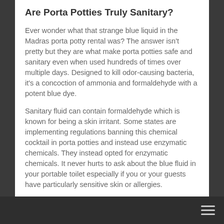Are Porta Potties Truly Sanitary?
Ever wonder what that strange blue liquid in the Madras porta potty rental was? The answer isn't pretty but they are what make porta potties safe and sanitary even when used hundreds of times over multiple days. Designed to kill odor-causing bacteria, it's a concoction of ammonia and formaldehyde with a potent blue dye.
Sanitary fluid can contain formaldehyde which is known for being a skin irritant. Some states are implementing regulations banning this chemical cocktail in porta potties and instead use enzymatic chemicals. They instead opted for enzymatic chemicals. It never hurts to ask about the blue fluid in your portable toilet especially if you or your guests have particularly sensitive skin or allergies.